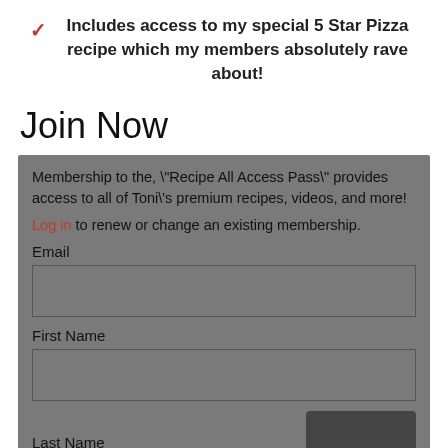Includes access to my special 5 Star Pizza recipe which my members absolutely rave about!
Join Now
Membership to the, "Recipe All Access Pass" provides access to all of Toni's premium recipes, videos, and more!
Log in to renew or change an existing membership.
Email
First Name
Last Name